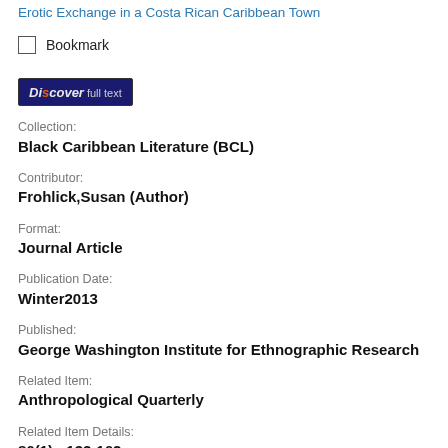Erotic Exchange in a Costa Rican Caribbean Town
Bookmark
[Figure (logo): Discover full text button logo with dark navy background]
Collection:
Black Caribbean Literature (BCL)
Contributor:
Frohlick,Susan (Author)
Format:
Journal Article
Publication Date:
Winter2013
Published:
George Washington Institute for Ethnographic Research
Related Item:
Anthropological Quarterly
Related Item Details:
86(1) : 133-162
Subject Term: